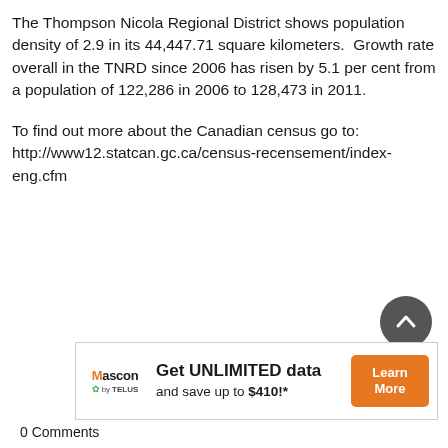The Thompson Nicola Regional District shows population density of 2.9 in its 44,447.71 square kilometers. Growth rate overall in the TNRD since 2006 has risen by 5.1 per cent from a population of 122,286 in 2006 to 128,473 in 2011.
To find out more about the Canadian census go to: http://www12.statcan.gc.ca/census-recensement/index-eng.cfm
[Figure (other): Circular scroll-to-top button with upward chevron arrow, dark grey background]
[Figure (other): Advertisement banner: Mascon by TELUS logo on left, text 'Get UNLIMITED data and save up to $410!*' in center, orange 'Learn More' button on right]
0 Comments